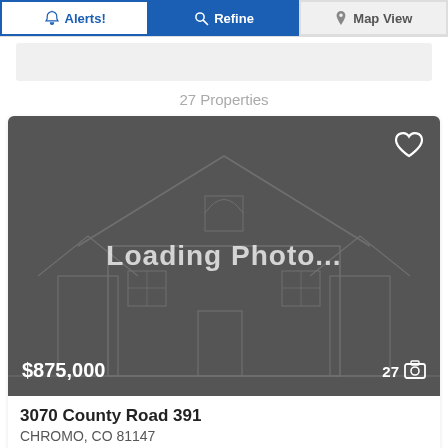[Figure (screenshot): Top navigation button bar with three buttons: Alerts!, Refine, Map View]
[Figure (screenshot): Gray filter/search bar placeholder]
27 Properties
[Figure (photo): Property listing photo placeholder showing 'Loading Photo...' text over a dark gray background with a house outline illustration. Price $875,000 shown bottom left, 27 photos count shown bottom right with camera icon. Heart/favorite icon top right.]
3070 County Road 391
CHROMO, CO 81147